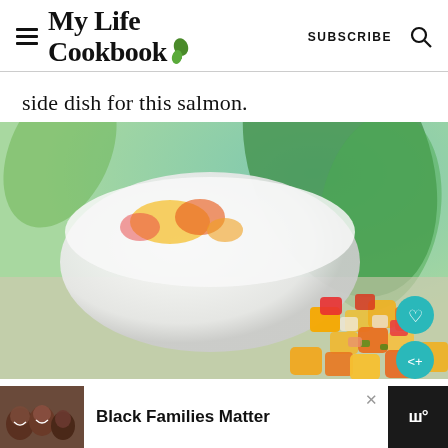My Life Cookbook | SUBSCRIBE
side dish for this salmon.
[Figure (photo): Close-up photo of colorful mango salsa with diced yellow, orange, and red pieces in a white bowl, with green leaves in the background. Two circular teal buttons (heart/save and share) overlay the bottom right corner.]
Black Families Matter